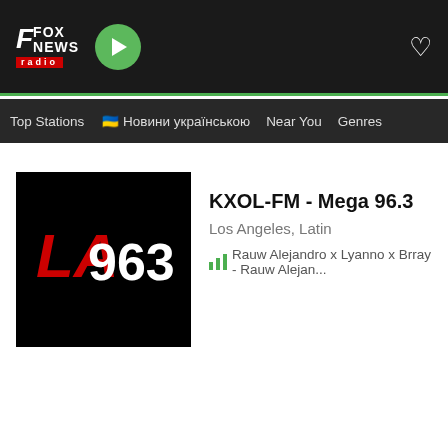Fox News Radio — header with play button and heart icon
Top Stations
🇺🇦 Новини українською
Near You
Genres
KXOL-FM - Mega 96.3
Los Angeles, Latin
Rauw Alejandro x Lyanno x Brray - Rauw Alejan...